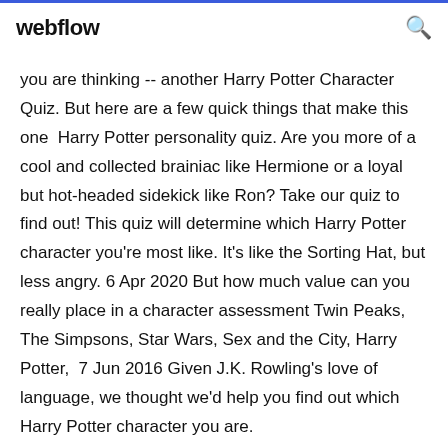webflow
you are thinking -- another Harry Potter Character Quiz. But here are a few quick things that make this one Harry Potter personality quiz. Are you more of a cool and collected brainiac like Hermione or a loyal but hot-headed sidekick like Ron? Take our quiz to find out! This quiz will determine which Harry Potter character you're most like. It's like the Sorting Hat, but less angry. 6 Apr 2020 But how much value can you really place in a character assessment Twin Peaks, The Simpsons, Star Wars, Sex and the City, Harry Potter, 7 Jun 2016 Given J.K. Rowling's love of language, we thought we'd help you find out which Harry Potter character you are.